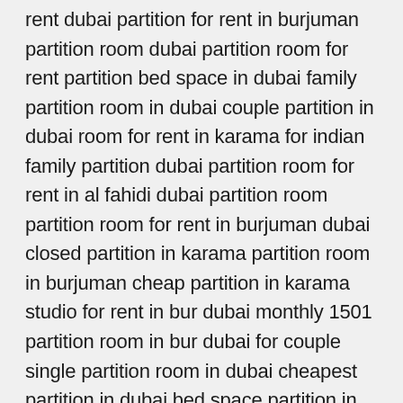rent dubai partition for rent in burjuman partition room dubai partition room for rent partition bed space in dubai family partition room in dubai couple partition in dubai room for rent in karama for indian family partition dubai partition room for rent in al fahidi dubai partition room partition room for rent in burjuman dubai closed partition in karama partition room in burjuman cheap partition in karama studio for rent in bur dubai monthly 1501 partition room in bur dubai for couple single partition room in dubai cheapest partition in dubai bed space partition in dubai partition near me family partition room in bur dubai partition rent in dubai partition room rent in dubai partition room for rent in karama big partition for rent in dubai burjuman partition room for rent bed space in dubai dubizzle partition room available in karama partition for rent in dubai karama room partition dubai partition room in karama dubizzle partition room near me bur dubai partition room cheap partition in bur dubai single partition room for rent in karama partition bedspace in dubai room for rent in tecom dubizzle dubizzle studio for rent in karama family room